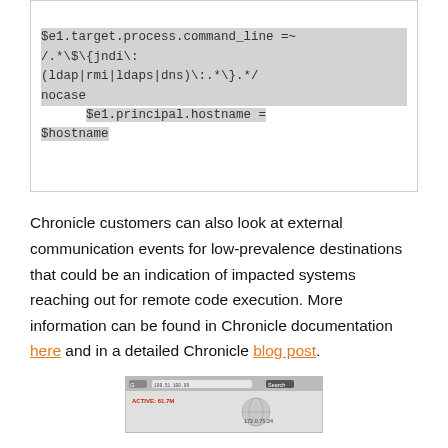$e1.target.process.command_line =~
/.*\$\{jndi\:
(ldap|rmi|ldaps|dns)\:.*\}.*/
nocase
      $e1.principal.hostname =
$hostname
Chronicle customers can also look at external communication events for low-prevalence destinations that could be an indication of impacted systems reaching out for remote code execution. More information can be found in Chronicle documentation here and in a detailed Chronicle blog post.
[Figure (screenshot): Screenshot of a Chronicle security dashboard interface showing network or alert data]